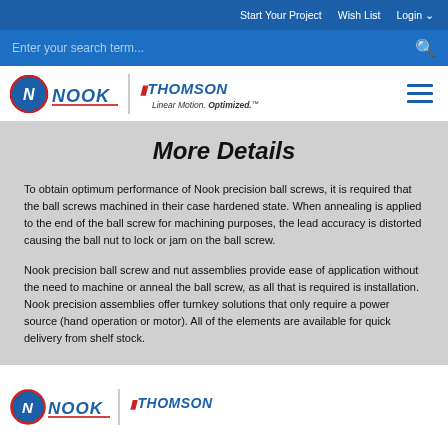Start Your Project  Wish List  Login
Enter your search term...
More Details
To obtain optimum performance of Nook precision ball screws, it is required that the ball screws machined in their case hardened state. When annealing is applied to the end of the ball screw for machining purposes, the lead accuracy is distorted causing the ball nut to lock or jam on the ball screw.
Nook precision ball screw and nut assemblies provide ease of application without the need to machine or anneal the ball screw, as all that is required is installation. Nook precision assemblies offer turnkey solutions that only require a power source (hand operation or motor). All of the elements are available for quick delivery from shelf stock.